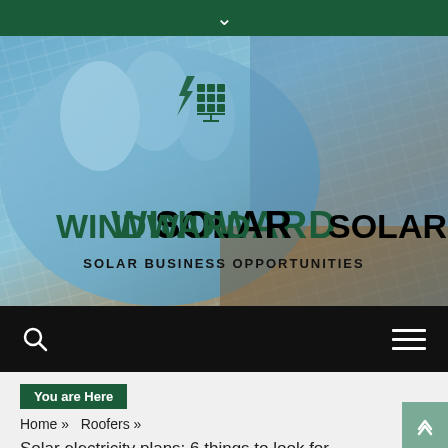[Figure (screenshot): Website header for Windward Solar showing a person wearing blue gloves working on solar panels, with the Windward Solar logo and tagline 'Solar Business Opportunities' overlaid on the image. Below is a black navigation bar with a search icon and hamburger menu icon.]
You are Here
Home » Roofers »
Solar electricity plans: 6 things to look for